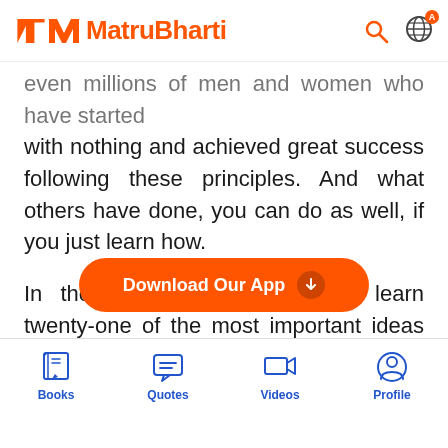MatruBharti
even millions of men and women who have started with nothing and achieved great success following these principles. And what others have done, you can do as well, if you just learn how.

In the pages ahead, you will learn twenty-one of the most important ideas and strategies ever discovered for achieving everything that you could ever want in life. You will find that there are no limits to what you can accomplish except for the limits you place on your own imagination. And since there are no limits to what you can imagine, there are no limits to what you can achieve. This is
[Figure (infographic): Orange rounded button banner: 'Download Our App' with a download arrow icon]
Books  Quotes  Videos  Profile